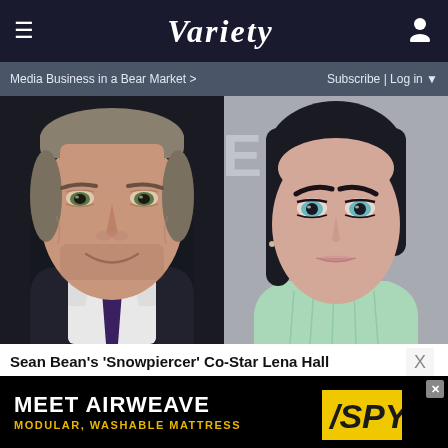≡  VARIETY  [user icon]
Media Business in a Bear Market >   Subscribe | Log in ▼
[Figure (photo): Side-by-side headshots: left shows Sean Bean (older man with salt-and-pepper stubble, smiling, wearing dark suit and patterned tie against dark background); right shows Lena Hall (young woman with dark hair, light eyes, wearing mint green sweater against grey background).]
Sean Bean's 'Snowpiercer' Co-Star Lena Hall Responds to Intimacy Coordinator Comments
[Figure (advertisement): Black banner ad reading 'MEET AIRWEAVE' in large white text with 'MODULAR, WASHABLE MATTRESS' in yellow below, and SPY logo in yellow on right side.]